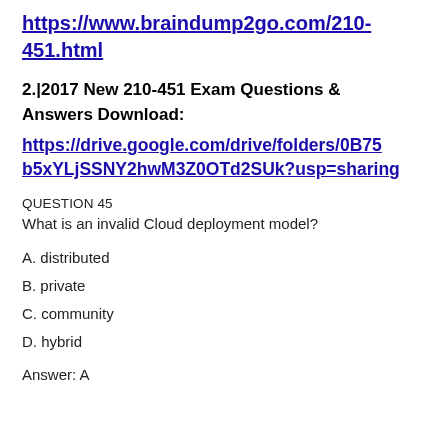https://www.braindump2go.com/210-451.html
2.|2017 New 210-451 Exam Questions & Answers Download: https://drive.google.com/drive/folders/0B75b5xYLjSSNY2hwM3Z0OTd2SUk?usp=sharing
QUESTION 45
What is an invalid Cloud deployment model?
A. distributed
B. private
C. community
D. hybrid
Answer: A